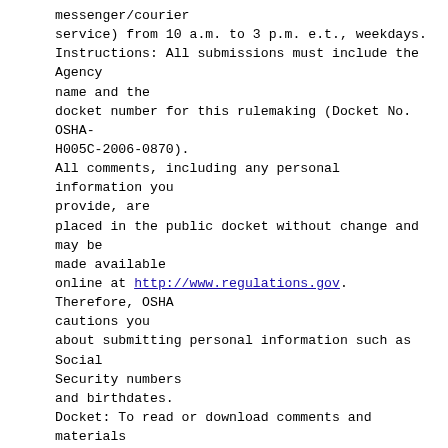messenger/courier service) from 10 a.m. to 3 p.m. e.t., weekdays. Instructions: All submissions must include the Agency name and the docket number for this rulemaking (Docket No. OSHA-H005C-2006-0870). All comments, including any personal information you provide, are placed in the public docket without change and may be made available online at http://www.regulations.gov. Therefore, OSHA cautions you about submitting personal information such as Social Security numbers and birthdates. Docket: To read or download comments and materials submitted in response to this Federal Register notice, go to Docket No. OSHA-H005C-2006-0870 at http://www.regulations.gov, or to the OSHA Docket Office at the address above. All comments and submissions are listed in the